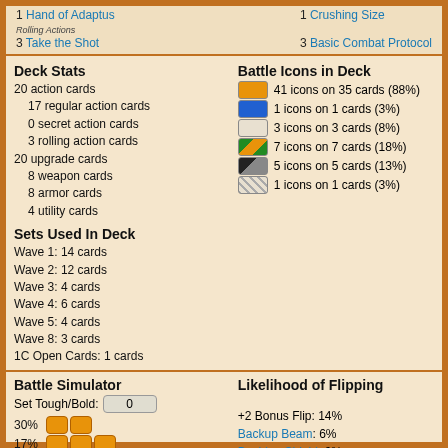1 Hand of Adaptus
Rolling Actions
3 Take the Shot
1 Crushing Size
3 Basic Combat Protocol
Deck Stats
20 action cards
  17 regular action cards
  0 secret action cards
  3 rolling action cards
20 upgrade cards
  8 weapon cards
  8 armor cards
  4 utility cards
Battle Icons in Deck
41 icons on 35 cards (88%)
1 icons on 1 cards (3%)
3 icons on 3 cards (8%)
7 icons on 7 cards (18%)
5 icons on 5 cards (13%)
1 icons on 1 cards (3%)
Sets Used In Deck
Wave 1: 14 cards
Wave 2: 12 cards
Wave 3: 4 cards
Wave 4: 6 cards
Wave 5: 4 cards
Wave 8: 3 cards
1C Open Cards: 1 cards
Battle Simulator
Set Tough/Bold: 0
30%
17%
9%
6%
5%
Likelihood of Flipping
+2 Bonus Flip: 14%
Backup Beam: 6%
Bashing Shield: 6%
Enforcement Batons: 6%
Escape Route: 5%
Wedge Formation: 12%
Hand of Adaptus: 5%